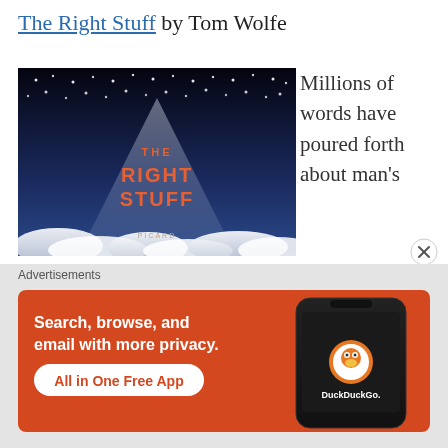The Right Stuff by Tom Wolfe
[Figure (photo): Book cover of 'The Right Stuff' showing a dark night sky with stars and a spotlight/searchlight beam with clouds at the bottom, with orange text reading 'THE RIGHT STUFF']
Millions of words have poured forth about man's
[Figure (other): DuckDuckGo advertisement banner with orange background showing a smartphone and text: Search, browse, and email with more privacy. All in One Free App. DuckDuckGo logo.]
Advertisements